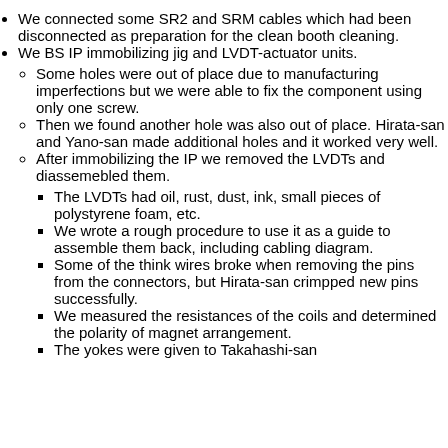We connected some SR2 and SRM cables which had been disconnected as preparation for the clean booth cleaning.
We BS IP immobilizing jig and LVDT-actuator units.
Some holes were out of place due to manufacturing imperfections but we were able to fix the component using only one screw.
Then we found another hole was also out of place. Hirata-san and Yano-san made additional holes and it worked very well.
After immobilizing the IP we removed the LVDTs and diassemebled them.
The LVDTs had oil, rust, dust, ink, small pieces of polystyrene foam, etc.
We wrote a rough procedure to use it as a guide to assemble them back, including cabling diagram.
Some of the think wires broke when removing the pins from the connectors, but Hirata-san crimpped new pins successfully.
We measured the resistances of the coils and determined the polarity of magnet arrangement.
The yokes were given to Takahashi-san